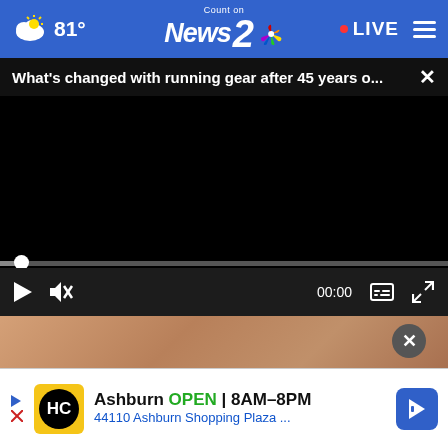[Figure (screenshot): News2 NBC navigation bar with weather icon showing 81°, Count on News 2 NBC logo in center, LIVE indicator with red dot on right, and hamburger menu]
What's changed with running gear after 45 years o...
[Figure (screenshot): Black video player with progress bar near bottom, play/pause button, mute button, timestamp 00:00, captions button, fullscreen button]
[Figure (photo): Partial thumbnail of skin/body image below video player with dark close X button overlay]
[Figure (screenshot): Advertisement bar for Ashburn HC with yellow logo, showing OPEN 8AM-8PM, address 44110 Ashburn Shopping Plaza, with blue navigation arrow icon]